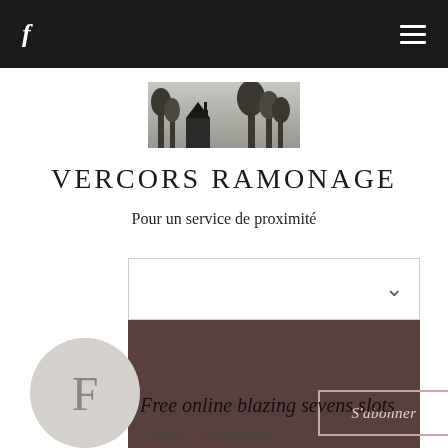f  ☰
[Figure (photo): Black and white landscape photo with silhouette of trees and a structure]
VERCORS RAMONAGE
Pour un service de proximité
[Figure (screenshot): Dropdown selector box with chevron arrow]
[Figure (screenshot): Dark brown profile banner with S'abonner button and three-dot menu, and circular avatar with letter F]
Free online blazing sevens slots
0 Abonnés • 0 Abonnements